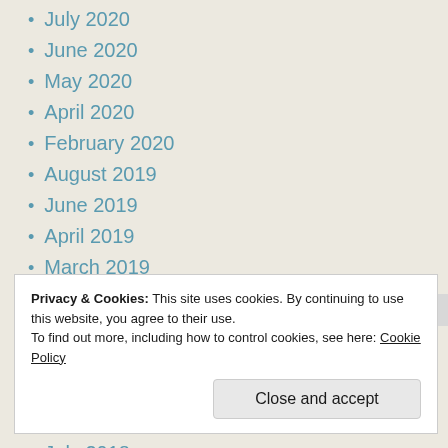July 2020
June 2020
May 2020
April 2020
February 2020
August 2019
June 2019
April 2019
March 2019
February 2019
January 2019
December 2018
November 2018
September 2018
July 2018
Privacy & Cookies: This site uses cookies. By continuing to use this website, you agree to their use.
To find out more, including how to control cookies, see here: Cookie Policy
Close and accept